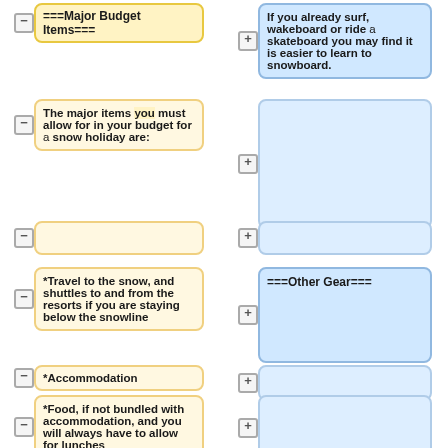===Major Budget Items===
If you already surf, wakeboard or ride a skateboard you may find it is easier to learn to snowboard.
The major items you must allow for in your budget for a snow holiday are:
*Travel to the snow, and shuttles to and from the resorts if you are staying below the snowline
===Other Gear===
*Accommodation
*Food, if not bundled with accommodation, and you will always have to allow for lunches